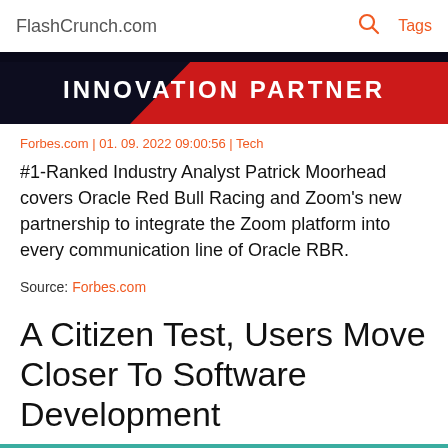FlashCrunch.com   🔍   Tags
[Figure (photo): Red and dark banner image with text 'INNOVATION PARTNER' in white bold letters on red background with dark geometric shapes]
Forbes.com | 01. 09. 2022 09:00:56 | Tech
#1-Ranked Industry Analyst Patrick Moorhead covers Oracle Red Bull Racing and Zoom's new partnership to integrate the Zoom platform into every communication line of Oracle RBR.
Source: Forbes.com
A Citizen Test, Users Move Closer To Software Development
[Figure (photo): Teal/green textured close-up photo, partially visible at bottom of page]